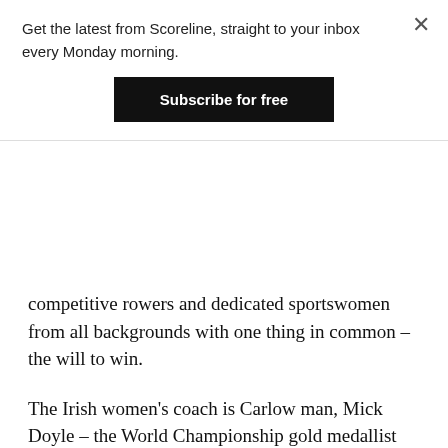Get the latest from Scoreline, straight to your inbox every Monday morning.
Subscribe for free
competitive rowers and dedicated sportswomen from all backgrounds with one thing in common – the will to win.
The Irish women's coach is Carlow man, Mick Doyle – the World Championship gold medallist has over 24 years' experience in the sport and has raced competitively for Great Britain.
Through his work with the Irish Dragon Boating Association (IDBA) and his attendance at a number of Dragon Boating regatta's being held around Ireland, Mick said that he noticed a number of 'highly athletic,